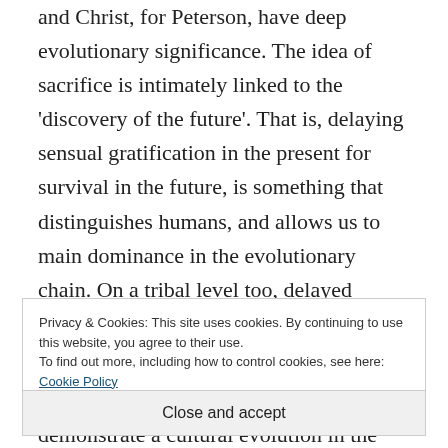and Christ, for Peterson, have deep evolutionary significance. The idea of sacrifice is intimately linked to the 'discovery of the future'. That is, delaying sensual gratification in the present for survival in the future, is something that distinguishes humans, and allows us to main dominance in the evolutionary chain. On a tribal level too, delayed gratification is the necessary in
Privacy & Cookies: This site uses cookies. By continuing to use this website, you agree to their use. To find out more, including how to control cookies, see here: Cookie Policy
Close and accept
demonstrate a cultural evolution in the